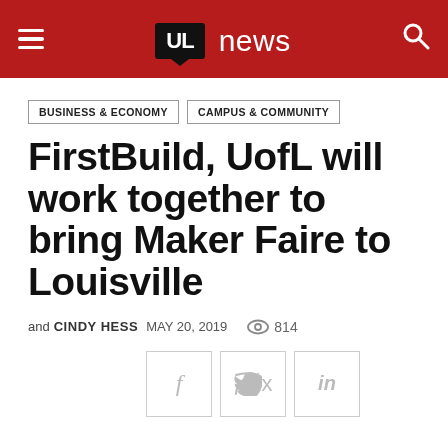UL news
BUSINESS & ECONOMY   CAMPUS & COMMUNITY
FirstBuild, UofL will work together to bring Maker Faire to Louisville
and CINDY HESS  MAY 20, 2019  👁 814
[Figure (infographic): Social share buttons: Facebook (f), Twitter (bird icon), LinkedIn (in)]